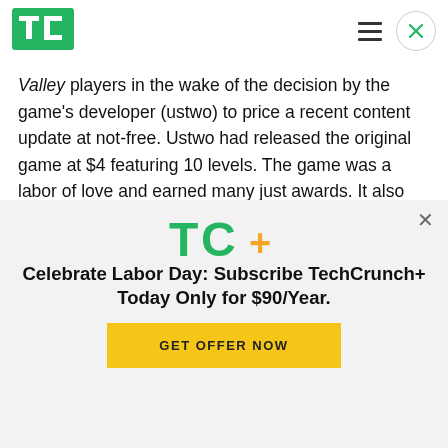[Figure (logo): TechCrunch TC logo in green, top left header]
Valley players in the wake of the decision by the game's developer (ustwo) to price a recent content update at not-free. Ustwo had released the original game at $4 featuring 10 levels. The game was a labor of love and earned many just awards. It also went to sell in excess of 1.4 million copies – a feat that exemplifies how arty mobile gaming can work
[Figure (logo): TechCrunch TC+ logo in green with orange plus sign]
Celebrate Labor Day: Subscribe TechCrunch+ Today Only for $90/Year.
GET OFFER NOW